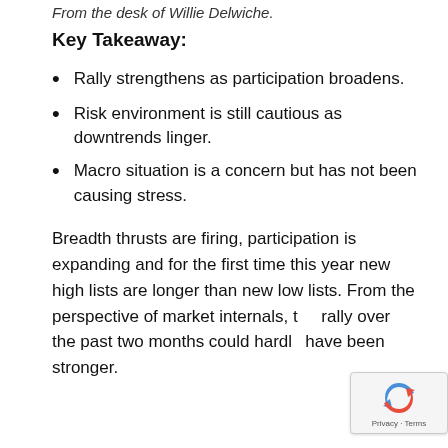From the desk of Willie Delwiche.
Key Takeaway:
Rally strengthens as participation broadens.
Risk environment is still cautious as downtrends linger.
Macro situation is a concern but has not been causing stress.
Breadth thrusts are firing, participation is expanding and for the first time this year new high lists are longer than new low lists. From the perspective of market internals, the rally over the past two months could hardly have been stronger.